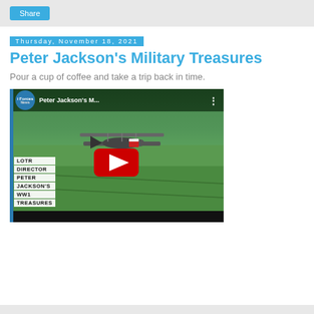Share
Peter Jackson's Military Treasures
Thursday, November 18, 2021
Pour a cup of coffee and take a trip back in time.
[Figure (screenshot): YouTube video embed showing 'Peter Jackson's Military Treasures' - Forces News video thumbnail with a WWI biplane flying over green fields. Text overlays read: LOTR DIRECTOR PETER JACKSON'S WW1 TREASURES. Large red YouTube play button in center.]